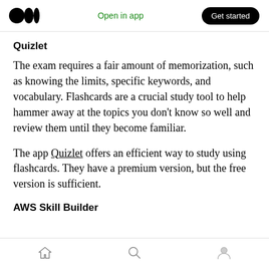Open in app  Get started
Quizlet
The exam requires a fair amount of memorization, such as knowing the limits, specific keywords, and vocabulary. Flashcards are a crucial study tool to help hammer away at the topics you don't know so well and review them until they become familiar.
The app Quizlet offers an efficient way to study using flashcards. They have a premium version, but the free version is sufficient.
AWS Skill Builder
Home  Search  Profile